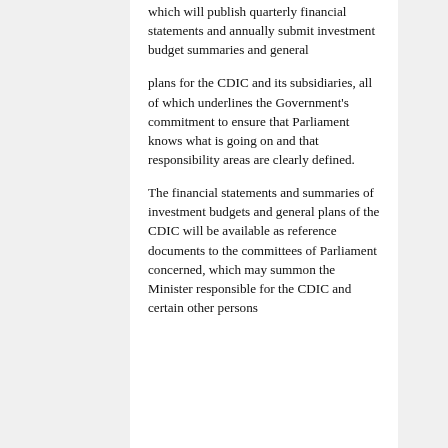which will publish quarterly financial statements and annually submit investment budget summaries and general
plans for the CDIC and its subsidiaries, all of which underlines the Government's commitment to ensure that Parliament knows what is going on and that responsibility areas are clearly defined.
The financial statements and summaries of investment budgets and general plans of the CDIC will be available as reference documents to the committees of Parliament concerned, which may summon the Minister responsible for the CDIC and certain other persons